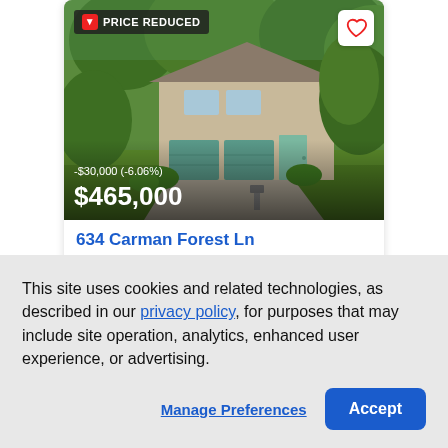[Figure (photo): Suburban two-story home with teal/green garage doors, surrounded by lush green trees and landscaped yard. Badge overlay: PRICE REDUCED with red down arrow. Heart/favorite button top right. Price overlay at bottom: -$30,000 (-6.06%) above $465,000 in white text.]
634 Carman Forest Ln
Ballwin, MO 63021
Single Family | Active
This site uses cookies and related technologies, as described in our privacy policy, for purposes that may include site operation, analytics, enhanced user experience, or advertising.
Manage Preferences
Accept